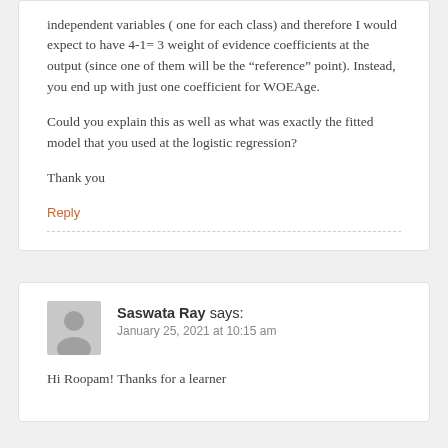independent variables ( one for each class) and therefore I would expect to have 4-1= 3 weight of evidence coefficients at the output (since one of them will be the “reference” point). Instead, you end up with just one coefficient for WOEAge.
Could you explain this as well as what was exactly the fitted model that you used at the logistic regression?
Thank you
Reply
Saswata Ray says:
January 25, 2021 at 10:15 am
Hi Roopam! Thanks for a learner